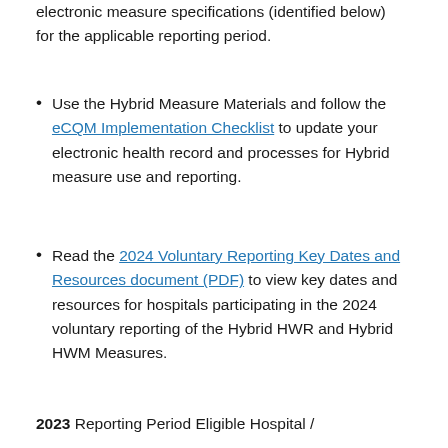electronic measure specifications (identified below) for the applicable reporting period.
Use the Hybrid Measure Materials and follow the eCQM Implementation Checklist to update your electronic health record and processes for Hybrid measure use and reporting.
Read the 2024 Voluntary Reporting Key Dates and Resources document (PDF) to view key dates and resources for hospitals participating in the 2024 voluntary reporting of the Hybrid HWR and Hybrid HWM Measures.
2023 Reporting Period Eligible Hospital /